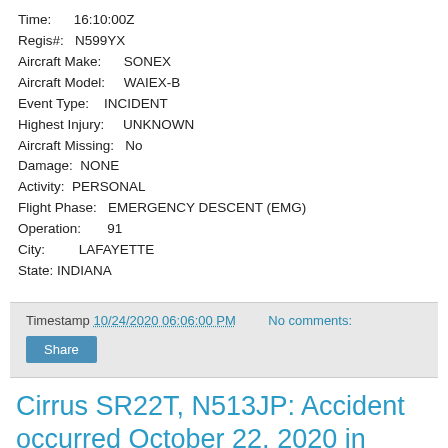Time:      16:10:00Z
Regis#:   N599YX
Aircraft Make:       SONEX
Aircraft Model:      WAIEX-B
Event Type:    INCIDENT
Highest Injury:       UNKNOWN
Aircraft Missing:   No
Damage:  NONE
Activity:  PERSONAL
Flight Phase:   EMERGENCY DESCENT (EMG)
Operation:       91
City:         LAFAYETTE
State: INDIANA
Timestamp 10/24/2020 06:06:00 PM    No comments:
Share
Cirrus SR22T, N513JP: Accident occurred October 22, 2020 in Xenia,